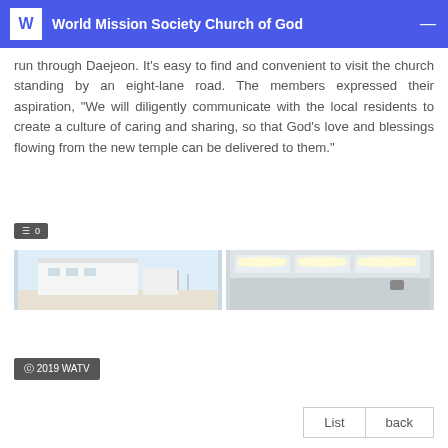World Mission Society Church of God
run through Daejeon. It's easy to find and convenient to visit the church standing by an eight-lane road. The members expressed their aspiration, "We will diligently communicate with the local residents to create a culture of caring and sharing, so that God's love and blessings flowing from the new temple can be delivered to them."
[Figure (photo): Small dark button/icon element]
[Figure (photo): Two side-by-side photos: left shows exterior of a white church building under a pale sky; right shows interior ceiling with recessed lighting panels]
© 2019 WATV
[Figure (other): List and back navigation buttons at bottom right]